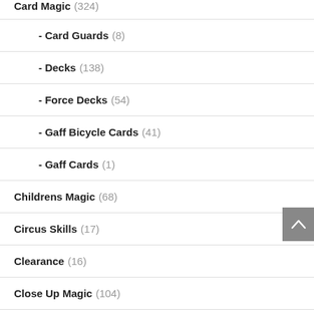Card Magic (324)
- Card Guards (8)
- Decks (138)
- Force Decks (54)
- Gaff Bicycle Cards (41)
- Gaff Cards (1)
Childrens Magic (68)
Circus Skills (17)
Clearance (16)
Close Up Magic (104)